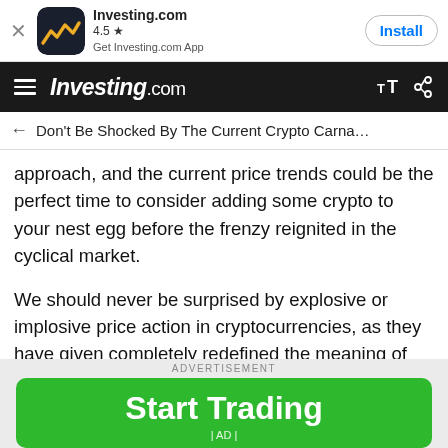[Figure (screenshot): App install banner for Investing.com with app icon, 4.5 star rating, and Install button]
Investing.com
Don't Be Shocked By The Current Crypto Carna…
approach, and the current price trends could be the perfect time to consider adding some crypto to your nest egg before the frenzy reignited in the cyclical market.
We should never be surprised by explosive or implosive price action in cryptocurrencies, as they have given completely redefined the meaning of volatility.
[Figure (photo): Partial view of author avatar circle]
ADVERTISEMENT
Start Trading | AD |